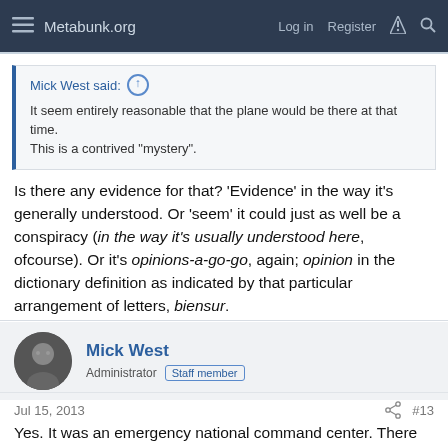Metabunk.org  Log in  Register
Mick West said: ↑
It seem entirely reasonable that the plane would be there at that time. This is a contrived "mystery".
Is there any evidence for that? 'Evidence' in the way it's generally understood. Or 'seem' it could just as well be a conspiracy (in the way it's usually understood here, ofcourse). Or it's opinions-a-go-go, again; opinion in the dictionary definition as indicated by that particular arrangement of letters, biensur.
Mick West
Administrator  Staff member
Jul 15, 2013  #13
Yes. It was an emergency national command center. There was